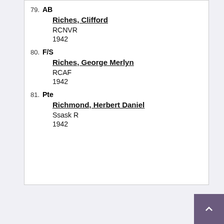79. AB Riches, Clifford RCNVR 1942
80. F/S Riches, George Merlyn RCAF 1942
81. Pte Richmond, Herbert Daniel Ssask R 1942